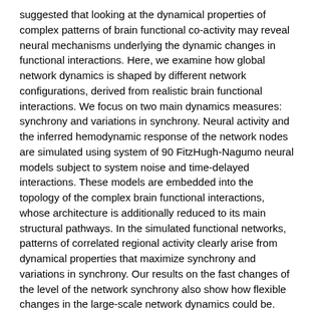suggested that looking at the dynamical properties of complex patterns of brain functional co-activity may reveal neural mechanisms underlying the dynamic changes in functional interactions. Here, we examine how global network dynamics is shaped by different network configurations, derived from realistic brain functional interactions. We focus on two main dynamics measures: synchrony and variations in synchrony. Neural activity and the inferred hemodynamic response of the network nodes are simulated using system of 90 FitzHugh-Nagumo neural models subject to system noise and time-delayed interactions. These models are embedded into the topology of the complex brain functional interactions, whose architecture is additionally reduced to its main structural pathways. In the simulated functional networks, patterns of correlated regional activity clearly arise from dynamical properties that maximize synchrony and variations in synchrony. Our results on the fast changes of the level of the network synchrony also show how flexible changes in the large-scale network dynamics could be.
| Field | Value |
| --- | --- |
| Comments: | 11 pages, 9 figures, 1 table |
| Subjects: | Adaptation and Self-Organizing Systems (nlin.AO); Neurons and Cognition (q-bio.NC) |
| Cite as: | arXiv:1412.5931 [nlin.AO] |